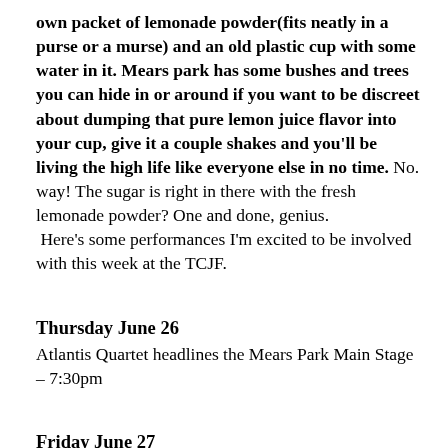own packet of lemonade powder(fits neatly in a purse or a murse) and an old plastic cup with some water in it. Mears park has some bushes and trees you can hide in or around if you want to be discreet about dumping that pure lemon juice flavor into your cup, give it a couple shakes and you'll be living the high life like everyone else in no time. No. way! The sugar is right in there with the fresh lemonade powder? One and done, genius.  Here's some performances I'm excited to be involved with this week at the TCJF.
Thursday June 26
Atlantis Quartet headlines the Mears Park Main Stage – 7:30pm
Friday June 27
Anthony Cox Happy Spirits Band – 308 Prince